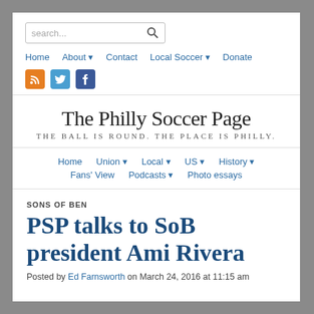search...
Home  About ▾  Contact  Local Soccer ▾  Donate
The Philly Soccer Page
THE BALL IS ROUND. THE PLACE IS PHILLY.
Home  Union ▾  Local ▾  US ▾  History ▾  Fans' View  Podcasts ▾  Photo essays
SONS OF BEN
PSP talks to SoB president Ami Rivera
Posted by Ed Farnsworth on March 24, 2016 at 11:15 am